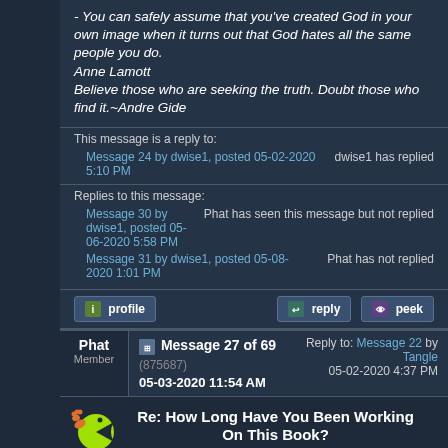- You can safely assume that you've created God in your own image when it turns out that God hates all the same people you do. Anne Lamott Believe those who are seeking the truth. Doubt those who find it.~Andre Gide
This message is a reply to:
Message 24 by dwise1, posted 05-02-2020 5:10 PM
dwise1 has replied
Replies to this message:
Message 30 by dwise1, posted 05-06-2020 5:58 PM
Phat has seen this message but not replied
Message 31 by dwise1, posted 05-08-2020 1:01 PM
Phat has not replied
profile   reply   peek
Phat Member
Message 27 of 69 (875687) 05-03-2020 11:54 AM
Reply to: Message 22 by Tangle 05-02-2020 4:37 PM
Re: How Long Have You Been Working On This Book?